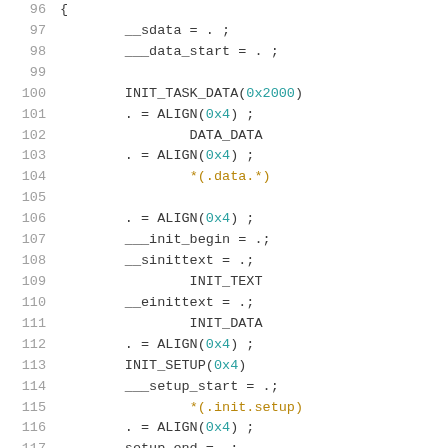96  {
97      __sdata = . ;
98      ___data_start = . ;
99      
100     INIT_TASK_DATA(0x2000)
101     . = ALIGN(0x4) ;
102             DATA_DATA
103     . = ALIGN(0x4) ;
104             *(.data.*)
105     
106     . = ALIGN(0x4) ;
107     ___init_begin = .;
108     __sinittext = .;
109             INIT_TEXT
110     __einittext = .;
111             INIT_DATA
112     . = ALIGN(0x4) ;
113     INIT_SETUP(0x4)
114     ___setup_start = .;
115             *(.init.setup)
116     . = ALIGN(0x4) ;
117     setup_end = .;